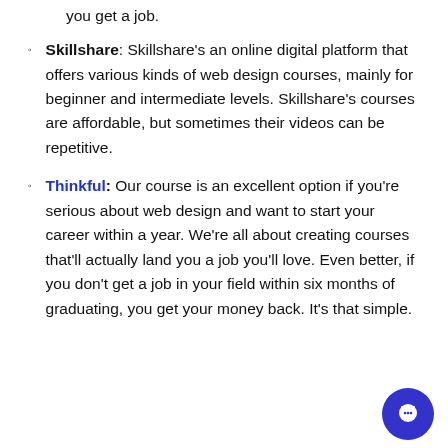you get a job.
Skillshare: Skillshare's an online digital platform that offers various kinds of web design courses, mainly for beginner and intermediate levels. Skillshare's courses are affordable, but sometimes their videos can be repetitive.
Thinkful: Our course is an excellent option if you're serious about web design and want to start your career within a year. We're all about creating courses that'll actually land you a job you'll love. Even better, if you don't get a job in your field within six months of graduating, you get your money back. It's that simple.